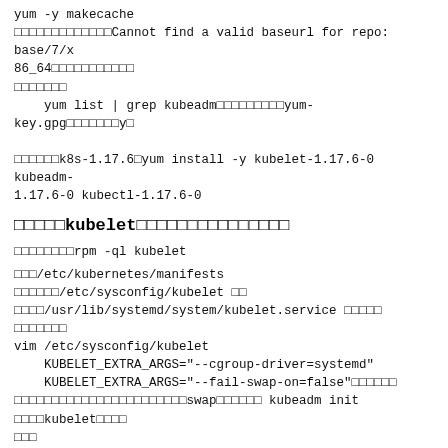yum -y makecache
□□□□□□□□□□□□□Cannot find a valid baseurl for repo: base/7/x86_64□□□□□□□□□□□
□□□□□□□
    yum list | grep kubeadm□□□□□□□□□yum-key.gpg□□□□□□□y□
□□□□□□k8s-1.17.6□yum install -y kubelet-1.17.6-0 kubeadm-1.17.6-0 kubectl-1.17.6-0
□□□□□kubelet□□□□□□□□□□□□□□□
□□□□□□□□rpm -ql kubelet
□□□/etc/kubernetes/manifests □□□□□□/etc/sysconfig/kubelet □□□□□□/usr/lib/systemd/system/kubelet.service □□□□□
□□□□□□□
vim /etc/sysconfig/kubelet
    KUBELET_EXTRA_ARGS="--cgroup-driver=systemd"
    KUBELET_EXTRA_ARGS="--fail-swap-on=false"□□□□□□
□□□□□□□□□□□□□□□□□□□□□□□swap□□□□□□ kubeadm init □□□□kubelet□□□□□□
□□kubelet□□□□□□□□□□□□□□□□□□□□□□□□□□/□□□□□□□□□□□kubelet□
    systemctl enable kubelet
□□k8s□□□docker□□
□□□□□□□□